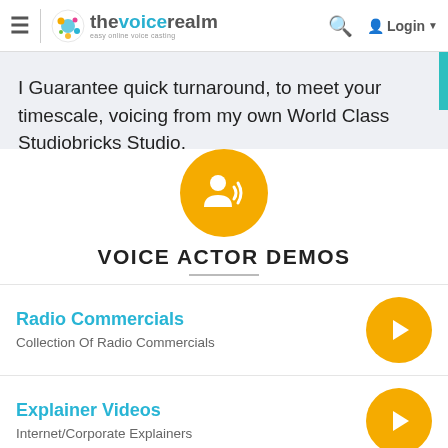thevoicerealm — easy online voice casting | Login
I Guarantee quick turnaround, to meet your timescale, voicing from my own World Class Studiobricks Studio.
[Figure (illustration): Golden yellow circle with white voice/speaker person icon]
VOICE ACTOR DEMOS
Radio Commercials — Collection Of Radio Commercials
Explainer Videos — Internet/Corporate Explainers